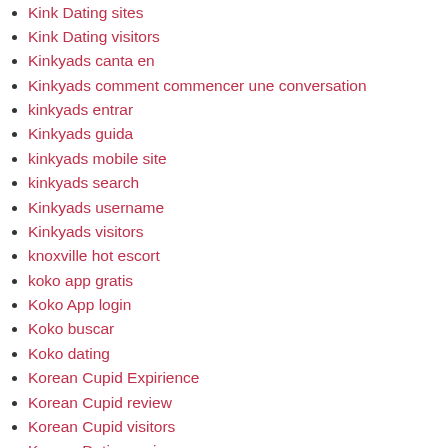Kink Dating sites
Kink Dating visitors
Kinkyads canta en
Kinkyads comment commencer une conversation
kinkyads entrar
Kinkyads guida
kinkyads mobile site
kinkyads search
Kinkyads username
Kinkyads visitors
knoxville hot escort
koko app gratis
Koko App login
Koko buscar
Koko dating
Korean Cupid Expirience
Korean Cupid review
Korean Cupid visitors
Korean Dating review
korean dating reviews
Korean dating tips
korean women seeking marriage american men
korean-chat-rooms dating
koreancupid dating
KoreanCupid kosten